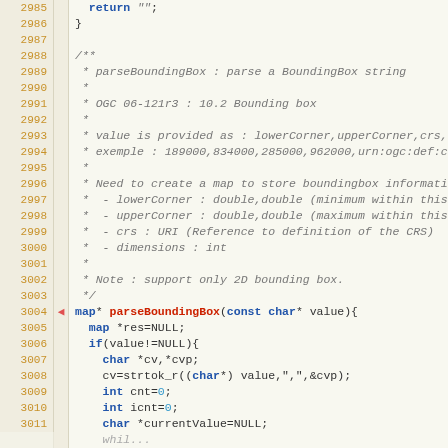[Figure (screenshot): Source code viewer showing C code lines 2985-3011, with line numbers in orange on a tan background, featuring a parseBoundingBox function with its documentation comment block.]